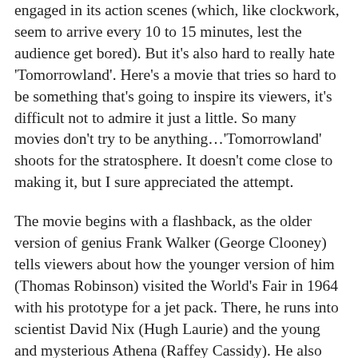engaged in its action scenes (which, like clockwork, seem to arrive every 10 to 15 minutes, lest the audience get bored). But it's also hard to really hate 'Tomorrowland'. Here's a movie that tries so hard to be something that's going to inspire its viewers, it's difficult not to admire it just a little. So many movies don't try to be anything…'Tomorrowland' shoots for the stratosphere. It doesn't come close to making it, but I sure appreciated the attempt.
The movie begins with a flashback, as the older version of genius Frank Walker (George Clooney) tells viewers about how the younger version of him (Thomas Robinson) visited the World's Fair in 1964 with his prototype for a jet pack. There, he runs into scientist David Nix (Hugh Laurie) and the young and mysterious Athena (Raffey Cassidy). He also